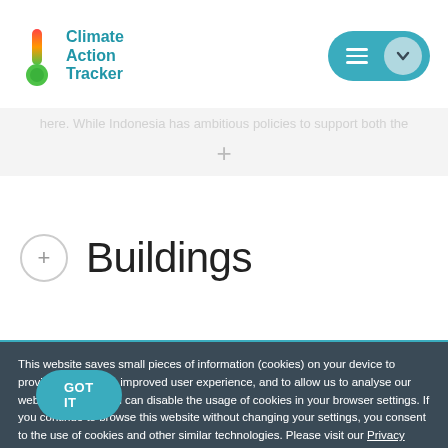Climate Action Tracker
here. While Indonesia has ambitious policies to support both the
Buildings
This website saves small pieces of information (cookies) on your device to provide you with an improved user experience, and to allow us to analyse our website's traffic. You can disable the usage of cookies in your browser settings. If you continue to browse this website without changing your settings, you consent to the use of cookies and other similar technologies. Please visit our Privacy Policy page for further details.
GOT IT